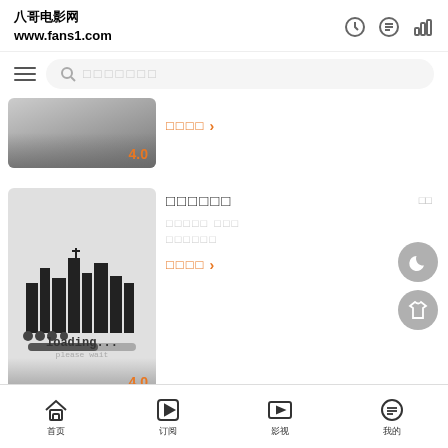八哥电影网 www.fans1.com
[Figure (screenshot): Search bar with hamburger menu icon and placeholder text]
[Figure (screenshot): Movie card with gradient thumbnail showing rating 4.0 and orange watch link]
[Figure (screenshot): Second movie card with loading illustration thumbnail, rating 4.0, title text, meta info, and orange watch link. Floating dark mode and theme buttons on right.]
首页  订阅  影视  我的